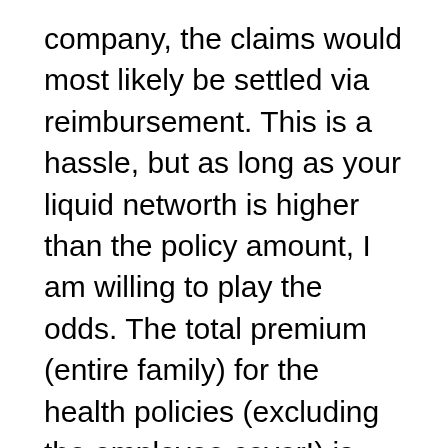company, the claims would most likely be settled via reimbursement. This is a hassle, but as long as your liquid networth is higher than the policy amount, I am willing to play the odds. The total premium (entire family) for the health policies (excluding the employee cover!) is above one lakh. It is important to keep the future increase of this amount in mind while planning for retirement.
Let me conclude with a warning. Health insurance is largely a loss-making